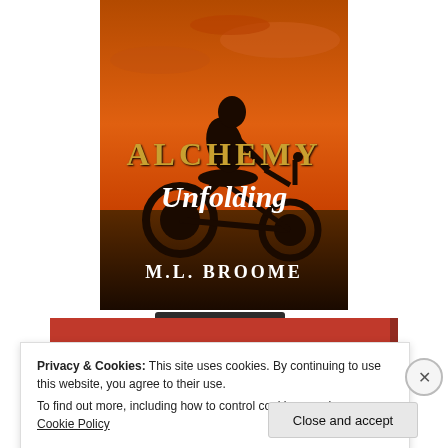[Figure (illustration): Book cover for 'Alchemy Unfolding' by M.L. Broome. Shows a silhouette of a person leaning over a motorcycle against an orange sunset sky. The title 'ALCHEMY' appears in gold serif capitals, and 'Unfolding' appears in white cursive script beneath. The author name 'M.L. BROOME' appears at the bottom in white serif capitals.]
Start Reading
Privacy & Cookies: This site uses cookies. By continuing to use this website, you agree to their use.
To find out more, including how to control cookies, see here: Cookie Policy
Close and accept